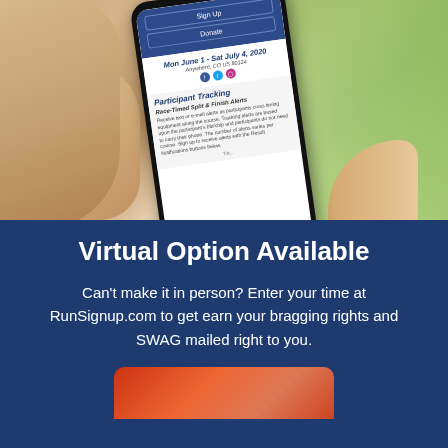[Figure (photo): Hand holding a smartphone displaying a race event page with 'Sign Up' and 'Donate' buttons, date 'Mon June 1 - Sat July 4, 2020', location 'Anywhere, CO US 80124', social media icons, and a 'Participant Tracking' section with 'Race-Timed Split & Finish Alerts' text.]
Virtual Option Available
Can't make it in person? Enter your time at RunSignup.com to get earn your bragging rights and SWAG mailed right to you.
[Figure (photo): Partial bottom image, appears to show a red/orange colored scene, cropped.]